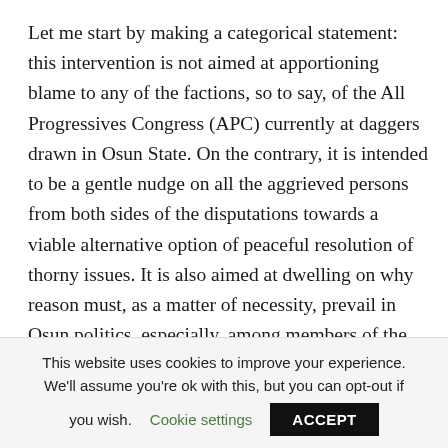Let me start by making a categorical statement: this intervention is not aimed at apportioning blame to any of the factions, so to say, of the All Progressives Congress (APC) currently at daggers drawn in Osun State. On the contrary, it is intended to be a gentle nudge on all the aggrieved persons from both sides of the disputations towards a viable alternative option of peaceful resolution of thorny issues. It is also aimed at dwelling on why reason must, as a matter of necessity, prevail in Osun politics, especially, among members of the same political family.
This website uses cookies to improve your experience. We'll assume you're ok with this, but you can opt-out if you wish. Cookie settings ACCEPT